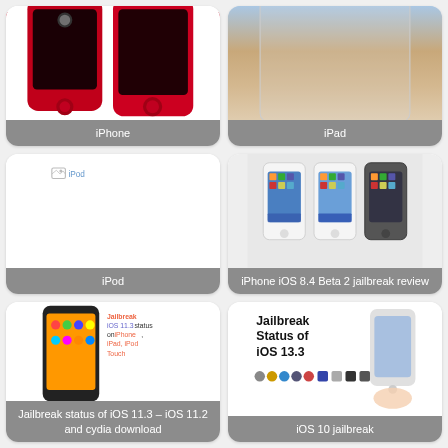[Figure (photo): Red iPhones product image, cropped at top]
iPhone
[Figure (photo): iPad with sky/sunset wallpaper, cropped at top]
iPad
[Figure (photo): iPod - broken image placeholder]
iPod
[Figure (photo): Three iPhones showing iOS 8.4 Beta 2 jailbreak]
iPhone iOS 8.4 Beta 2 jailbreak review
[Figure (screenshot): Jailbreak iOS 11.3 status on iPhone, iPad, iPod Touch article thumbnail with phone image and colored text]
Jailbreak status of iOS 11.3 – iOS 11.2 and cydia download
[Figure (screenshot): Jailbreak Status of iOS 13.3 article with phone image and icons]
iOS 10 jailbreak